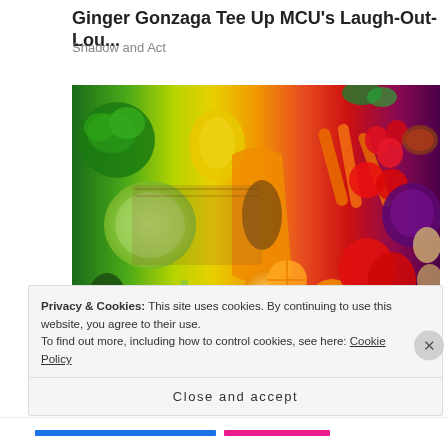Ginger Gonzaga Tee Up MCU's Laugh-Out-Lou…
Shadow and Act
[Figure (photo): Rainbow-arranged colorful fruits and vegetables spread on a surface, organized from greens on the left through yellows, oranges, reds, and purples on the right.]
Privacy & Cookies: This site uses cookies. By continuing to use this website, you agree to their use.
To find out more, including how to control cookies, see here: Cookie Policy
Close and accept